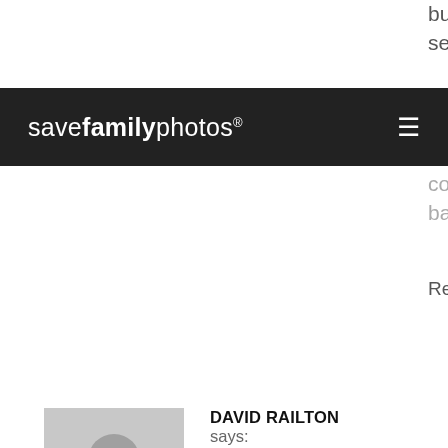but also store one set in my garden
savefamilyphotos:
computer and the backups!
Reply
DAVID RAILTON says: June 7, 2016 at 1:30 pm
tHANK YOU FOR THE ARTICLE BUT i STILL DON'T KNOW HOW TO DO IT. i RIGHT CLICK ON A THUMBNAIL AND THEN WHAT? i AM PRESENTED WITH A LIST OF OPTIONS